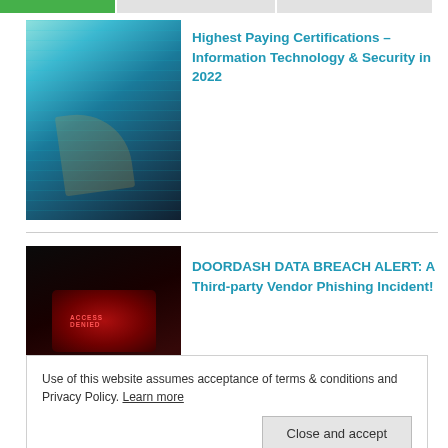[Figure (screenshot): Navigation tab bar with green active tab and two gray tabs]
[Figure (photo): Person touching glowing digital screen with code/data visuals in teal tones]
Highest Paying Certifications – Information Technology & Security in 2022
[Figure (photo): Dark image with glowing red laptop keyboard suggesting cybersecurity threat]
DOORDASH DATA BREACH ALERT: A Third-party Vendor Phishing Incident!
[Figure (photo): Grayscale image of hands near vehicle interior suggesting SpaceX Cybertruck concept]
SpaceX`s Conceptual Space Cypertruck
Use of this website assumes acceptance of terms & conditions and Privacy Policy. Learn more
2023: The Future of Flying Cars in Japan